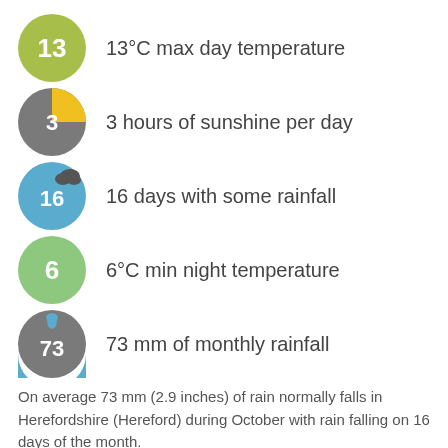13°C max day temperature
3 hours of sunshine per day
16 days with some rainfall
6°C min night temperature
73 mm of monthly rainfall
On average 73 mm (2.9 inches) of rain normally falls in Herefordshire (Hereford) during October with rain falling on 16 days of the month.
Back to months
Herefordshire weather in November